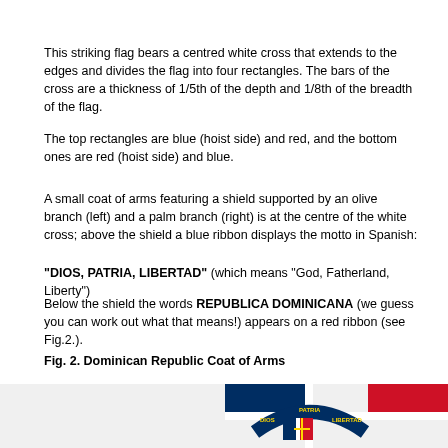This striking flag bears a centred white cross that extends to the edges and divides the flag into four rectangles. The bars of the cross are a thickness of 1/5th of the depth and 1/8th of the breadth of the flag.
The top rectangles are blue (hoist side) and red, and the bottom ones are red (hoist side) and blue.
A small coat of arms featuring a shield supported by an olive branch (left) and a palm branch (right) is at the centre of the white cross; above the shield a blue ribbon displays the motto in Spanish:
"DIOS, PATRIA, LIBERTAD" (which means "God, Fatherland, Liberty")
Below the shield the words REPUBLICA DOMINICANA (we guess you can work out what that means!) appears on a red ribbon (see Fig.2.).
Fig. 2. Dominican Republic Coat of Arms
[Figure (illustration): Dominican Republic Coat of Arms showing a shield with blue and red quarters, a gold cross, olive branch on left, palm branch on right, blue ribbon above reading DIOS PATRIA LIBERTAD, set within the Dominican Republic flag showing blue (top left), red (top right), red (bottom left), blue (bottom right) rectangles divided by a white cross.]